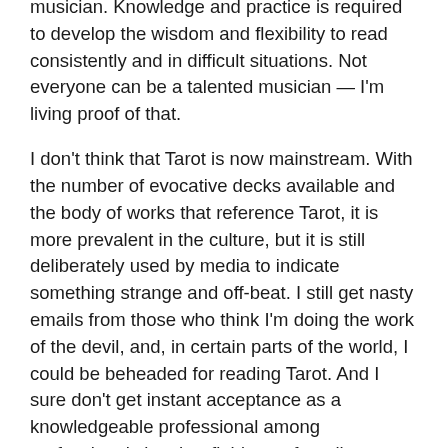musician. Knowledge and practice is required to develop the wisdom and flexibility to read consistently and in difficult situations. Not everyone can be a talented musician — I'm living proof of that.
I don't think that Tarot is now mainstream. With the number of evocative decks available and the body of works that reference Tarot, it is more prevalent in the culture, but it is still deliberately used by media to indicate something strange and off-beat. I still get nasty emails from those who think I'm doing the work of the devil, and, in certain parts of the world, I could be beheaded for reading Tarot. And I sure don't get instant acceptance as a knowledgeable professional among professionals in other fields — after all,